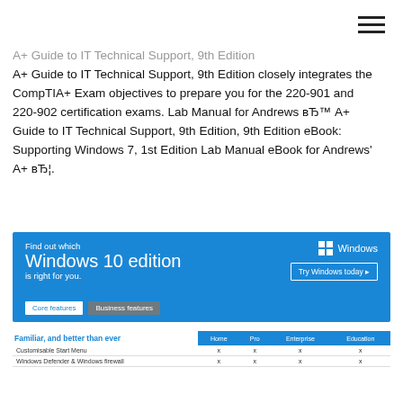A+ Guide to IT Technical Support, 9th Edition closely integrates the CompTIA+ Exam objectives to prepare you for the 220-901 and 220-902 certification exams. Lab Manual for Andrews's A+ Guide to IT Technical Support, 9th Edition, 9th Edition eBook: Supporting Windows 7, 1st Edition Lab Manual eBook for Andrews' A+ вЂ¦.
[Figure (screenshot): Microsoft Windows 10 edition comparison banner with 'Find out which Windows 10 edition is right for you' text, Windows logo, 'Try Windows today' button, Core features and Business features tabs]
| Familiar, and better than ever | Home | Pro | Enterprise | Education |
| --- | --- | --- | --- | --- |
| Customisable Start Menu | x | x | x | x |
| Windows Defender & Windows firewall | x | x | x | x |